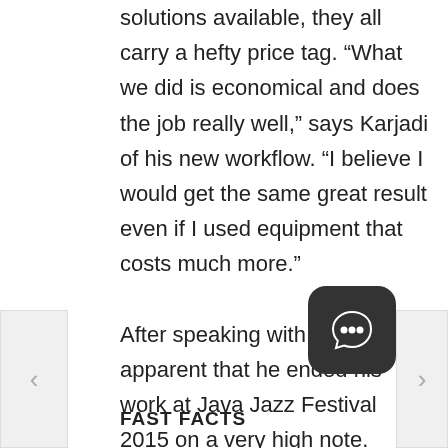solutions available, they all carry a hefty price tag. “What we did is economical and does the job really well,” says Karjadi of his new workflow. “I believe I would get the same great result even if I used equipment that costs much more.”

After speaking with Karjadi, it’s apparent that he ended his work at Java Jazz Festival 2015 on a very high note.
FAST FACTS